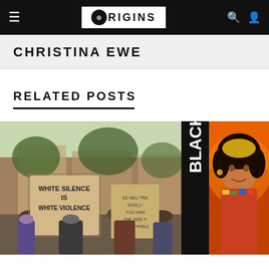ORIGINS — navigation bar with hamburger menu, logo, search and user icons
CHRISTINA EWE
RELATED POSTS
[Figure (photo): Protest photo showing people holding signs reading 'WHITE SILENCE IS WHITE VIOLENCE' and other protest signs, outdoors in front of brick buildings]
[Figure (illustration): Black vertical banner with 'BLACK' text]
[Figure (illustration): Colorful portrait illustration of a person against an orange/red background]